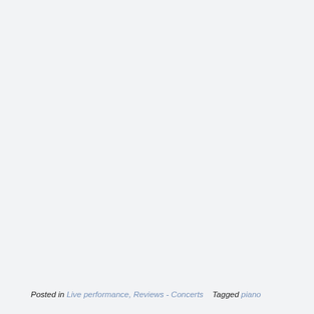Posted in Live performance, Reviews - Concerts    Tagged piano